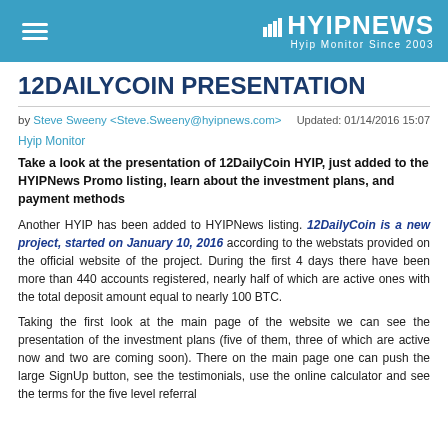HYIPNEWS — Hyip Monitor Since 2003
12DAILYCOIN PRESENTATION
by Steve Sweeny <Steve.Sweeny@hyipnews.com>   Updated: 01/14/2016 15:07
Hyip Monitor
Take a look at the presentation of 12DailyCoin HYIP, just added to the HYIPNews Promo listing, learn about the investment plans, and payment methods
Another HYIP has been added to HYIPNews listing. 12DailyCoin is a new project, started on January 10, 2016 according to the webstats provided on the official website of the project. During the first 4 days there have been more than 440 accounts registered, nearly half of which are active ones with the total deposit amount equal to nearly 100 BTC.
Taking the first look at the main page of the website we can see the presentation of the investment plans (five of them, three of which are active now and two are coming soon). There on the main page one can push the large SignUp button, see the testimonials, use the online calculator and see the terms for the five level referral